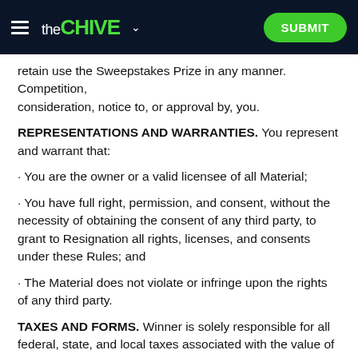theCHIVE — SUBMIT
retain use the Sweepstakes Prize in any manner. Competition, consideration, notice to, or approval by, you.
REPRESENTATIONS AND WARRANTIES. You represent and warrant that:
· You are the owner or a valid licensee of all Material;
· You have full right, permission, and consent, without the necessity of obtaining the consent of any third party, to grant to Resignation all rights, licenses, and consents under these Rules; and
· The Material does not violate or infringe upon the rights of any third party.
TAXES AND FORMS. Winner is solely responsible for all federal, state, and local taxes associated with the value of the Prizes, and for any shipping and handling charges related to delivery of the Prize. When applicable, Winner agrees to execute and return (and